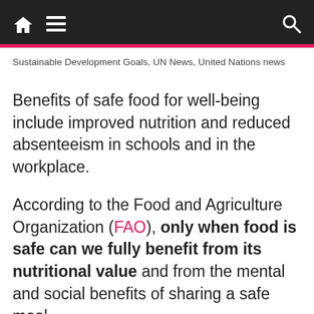🏠  ☰  🔍
Sustainable Development Goals, UN News, United Nations news
Benefits of safe food for well-being include improved nutrition and reduced absenteeism in schools and in the workplace.
According to the Food and Agriculture Organization (FAO), only when food is safe can we fully benefit from its nutritional value and from the mental and social benefits of sharing a safe meal.